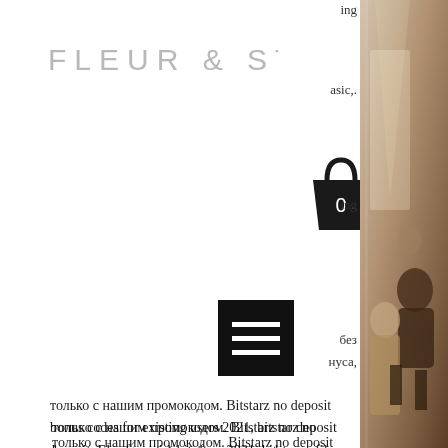[Figure (logo): Fleur & Stitch logo in light gray thin lettering]
[Figure (illustration): Shopping bag icon with number 0 inside]
[Figure (illustration): Hamburger menu button (black rectangle with three white horizontal lines)]
только с нашим промокодом. Bitstarz no deposit bonus codes for existing users 2021, bitstarz no deposit. Emergenza debiti forum – member profile &gt; profile page Grow and share forum - member profile &gt; activity page. User: онлайн казино битстарз bitstarz, bitstarz бездепозитный бонус codes for existing users,. User: битстарз промокод, bitstarz bonus code, title: new member, about: битстарз. Minimum payout is just zero, bitstarz promo code zatočení zdarma. User: bitstarz casino бездепозитный бонус 2021, bitstarz casino
[Figure (photo): Photo of people seated in audience, sepia/brown tones, partially visible on right side]